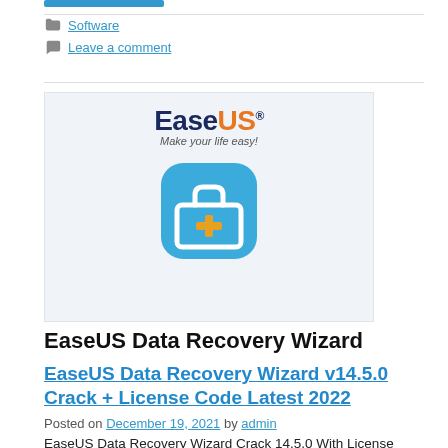Software
Leave a comment
[Figure (logo): EaseUS Data Recovery Wizard product logo with blue toolkit icon and tagline 'Make your life easy!']
EaseUS Data Recovery Wizard
EaseUS Data Recovery Wizard v14.5.0 Crack + License Code Latest 2022
Posted on December 19, 2021 by admin
EaseUS Data Recovery Wizard Crack 14.5.0 With License Code 2022 Download Full Free Using the EaseUS Data